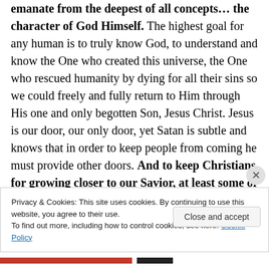emanate from the deepest of all concepts… the character of God Himself. The highest goal for any human is to truly know God, to understand and know the One who created this universe, the One who rescued humanity by dying for all their sins so we could freely and fully return to Him through His one and only begotten Son, Jesus Christ. Jesus is our door, our only door, yet Satan is subtle and knows that in order to keep people from coming he must provide other doors. And to keep Christians for growing closer to our Savior, at least some of those
Privacy & Cookies: This site uses cookies. By continuing to use this website, you agree to their use.
To find out more, including how to control cookies, see here: Cookie Policy
Close and accept